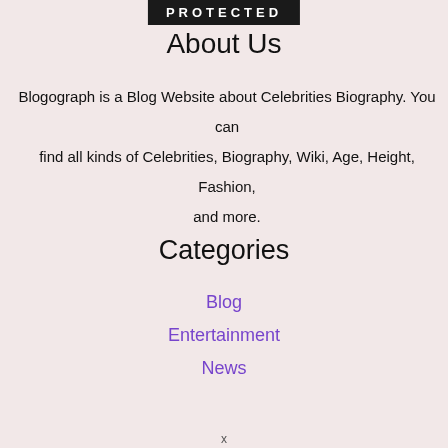[Figure (logo): PROTECTED logo bar — white bold spaced text on black background]
About Us
Blogograph is a Blog Website about Celebrities Biography. You can find all kinds of Celebrities, Biography, Wiki, Age, Height, Fashion, and more.
Categories
Blog
Entertainment
News
x